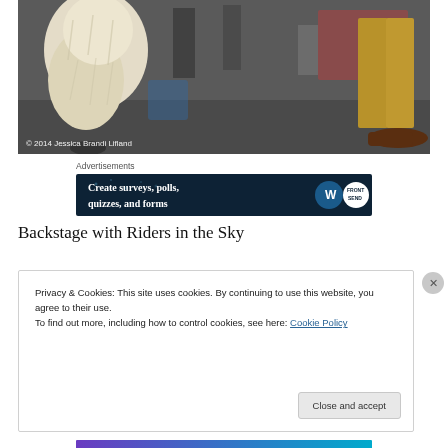[Figure (photo): Backstage photo showing a person in a large fluffy white fur costume on the left and someone in yellow/mustard pants with brown shoes on the right, with other people and chairs visible in the background.]
© 2014 Jessica Brandi Lifland
Advertisements
[Figure (screenshot): Advertisement banner with dark navy background reading 'Create surveys, polls, quizzes, and forms' with a WordPress logo circle and a 'Front Send' badge on the right.]
Backstage with Riders in the Sky
Privacy & Cookies: This site uses cookies. By continuing to use this website, you agree to their use.
To find out more, including how to control cookies, see here: Cookie Policy
Close and accept